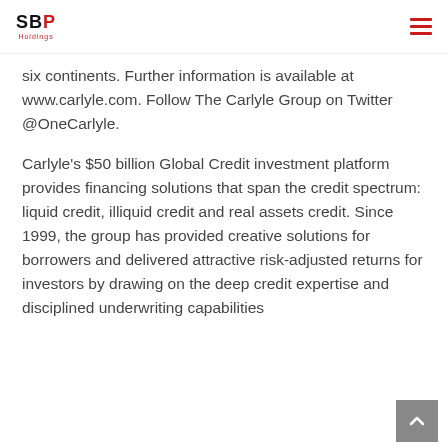SBP Holdings
six continents. Further information is available at www.carlyle.com. Follow The Carlyle Group on Twitter @OneCarlyle.
Carlyle's $50 billion Global Credit investment platform provides financing solutions that span the credit spectrum: liquid credit, illiquid credit and real assets credit. Since 1999, the group has provided creative solutions for borrowers and delivered attractive risk-adjusted returns for investors by drawing on the deep credit expertise and disciplined underwriting capabilities